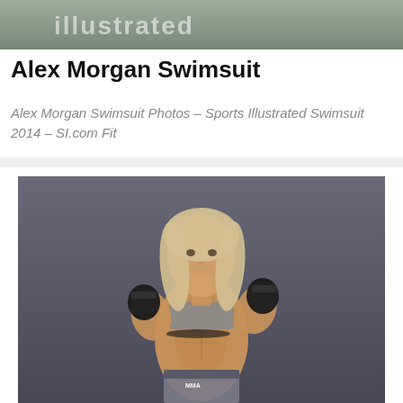[Figure (photo): Sports Illustrated banner image at top, partially visible with text]
Alex Morgan Swimsuit
Alex Morgan Swimsuit Photos – Sports Illustrated Swimsuit 2014 – SI.com Fit
[Figure (photo): Female MMA fighter in fighting stance wearing black MMA gloves, grey Nike sports bra, and grey MMA shorts with MMA branding, against a grey background]